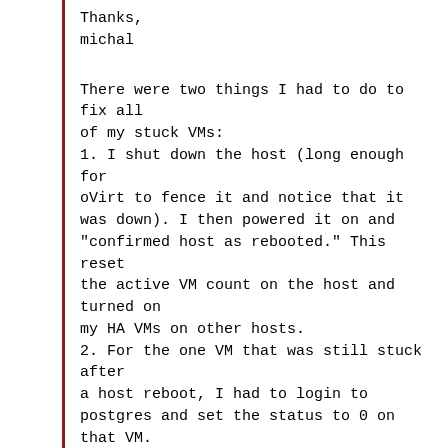Thanks,
michal
There were two things I had to do to fix all of my stuck VMs:
1. I shut down the host (long enough for oVirt to fence it and notice that it was down). I then powered it on and "confirmed host as rebooted." This reset the active VM count on the host and turned on my HA VMs on other hosts.
2. For the one VM that was still stuck after a host reboot, I had to login to postgres and set the status to 0 on that VM. This allowed me to shut down the migrating VM and start it back up. (I do not think I would have had to do this step if I did not alter the database entry for this VM before rebooting the host.)
For step 2, I used the methods described